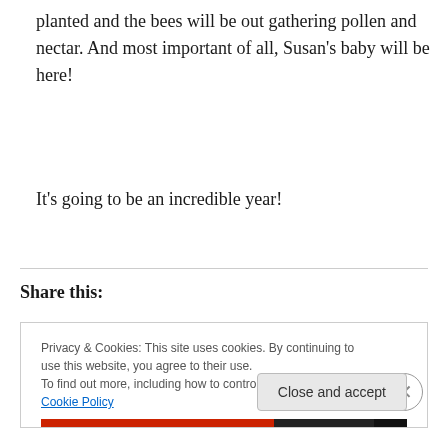planted and the bees will be out gathering pollen and nectar. And most important of all, Susan's baby will be here!
It's going to be an incredible year!
Share this:
Privacy & Cookies: This site uses cookies. By continuing to use this website, you agree to their use.
To find out more, including how to control cookies, see here: Cookie Policy